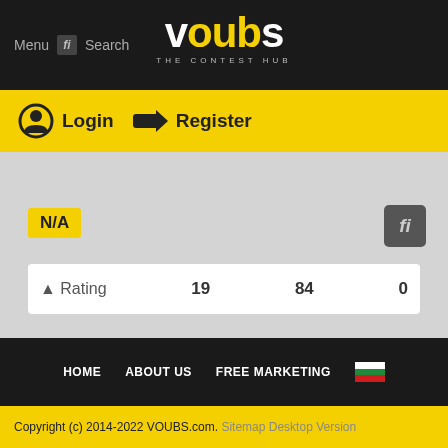Menu  fi  Search  VOUBS THE CONTEST HUB
Login  Register
[Figure (screenshot): N/A badge and fi icon on grey content area with rating row showing: Rating 19 84 0]
HOME  ABOUT US  FREE MARKETING  [Bulgarian flag]
Copyright (c) 2014-2022 VOUBS.com. Sitemap Desktop Version